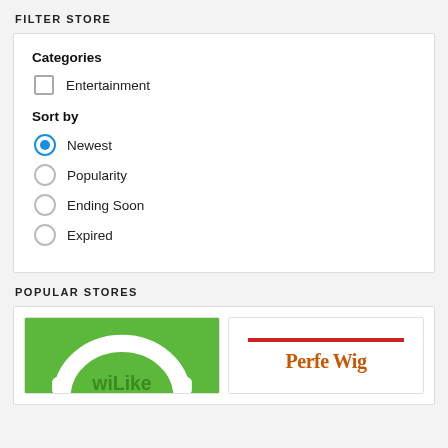FILTER STORE
Categories
Entertainment
Sort by
Newest (selected)
Popularity
Ending Soon
Expired
POPULAR STORES
[Figure (logo): wiLike store logo — green background with white arc/headphone shape and 'wiLike' text]
[Figure (logo): Perfe Wig store logo — white background with red horizontal bar at top and 'Perfe Wig' in orange-red serif text]